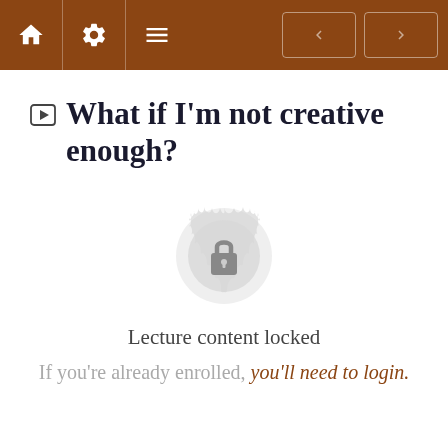Navigation toolbar with home, settings, menu icons and prev/next buttons
What if I'm not creative enough?
[Figure (illustration): A decorative mandala-style circular badge with a padlock icon in the center, indicating locked content]
Lecture content locked
If you're already enrolled, you'll need to login.